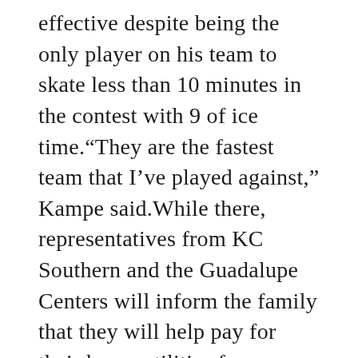effective despite being the only player on his team to skate less than 10 minutes in the contest with 9 of ice time.“They are the fastest team that I’ve played against,” Kampe said.While there, representatives from KC Southern and the Guadalupe Centers will inform the family that they will help pay for their home utilities for a year’s duration via the Guadalupe Centers’ Family Support Services programming.The 26-year-old has been a http://www.clevelandbrownsauthorizedstore.com/randall-jersey-elite productive AHL player since turning pro during the 2012 season, but has only featured in 10 NHL games to this point in his career.The son of former Auburn